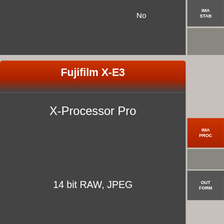No
IMA
STAB
Fujifilm X-E3
X-Processor Pro
IMA
PROC
14 bit RAW, JPEG
OUT
FORM